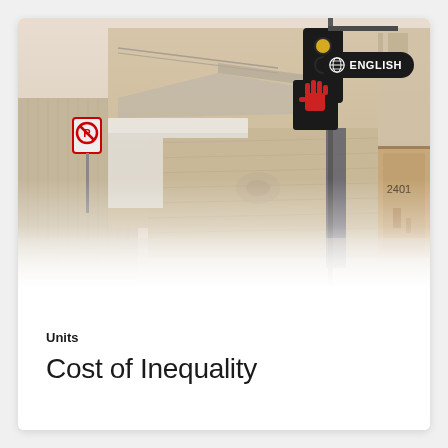[Figure (photo): Street scene showing a boarded-up building with wooden boards covering windows, an awning, traffic light showing red stop hand signal, a no-parking sign on the left, and building number 2401 visible on the right. The image has a faded, sepia-toned appearance with a fade to white at the bottom. An 'ENGLISH' badge with a globe icon overlays the top right of the photo.]
Units
Cost of Inequality